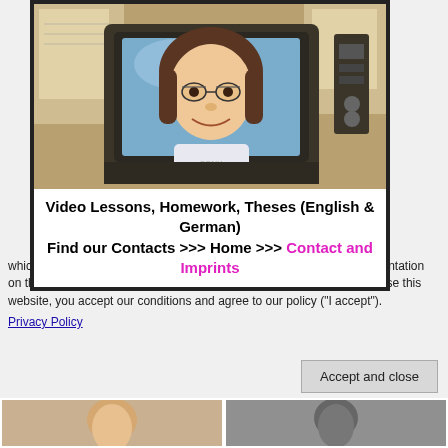[Figure (photo): A person's face displayed on a vintage Sony television screen, with papers/maps in the background]
Video Lessons, Homework, Theses (English & German)
Find our Contacts >>> Home >>> Contact and Imprints
which you access at your own risk. Please check our extensive documentation on the link "Privacy Policy" below the "Home" button. By continuing to use this website, you accept our conditions and agree to our policy ("I accept").
Privacy Policy
Accept and close
[Figure (photo): Small thumbnail portrait photo on the left]
[Figure (photo): Small thumbnail portrait photo on the right]